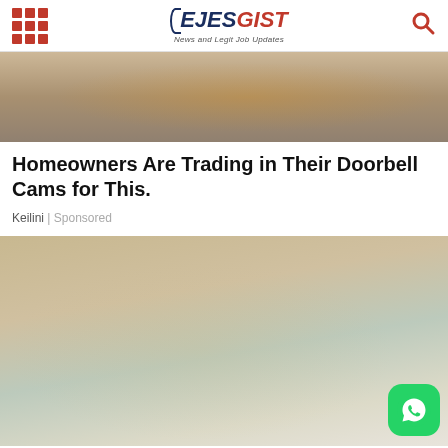EJESGIST — News and Legit Job Updates
[Figure (photo): Close-up photo of hands holding an orange power tool near electrical panel components]
Homeowners Are Trading in Their Doorbell Cams for This.
Keilini | Sponsored
[Figure (photo): Close-up photo of a person's arm/leg skin being examined, with a hand pressing on it, showing skin texture and spots. A WhatsApp icon appears in the bottom right corner.]